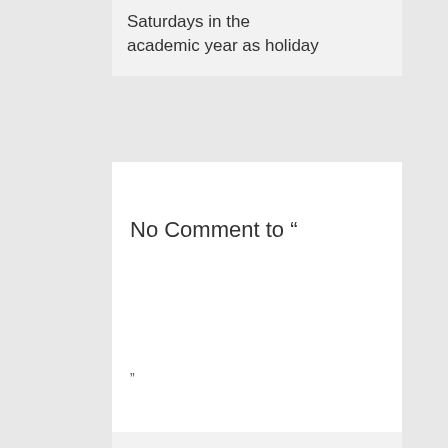Saturdays in the academic year as holiday
No Comment to "
"